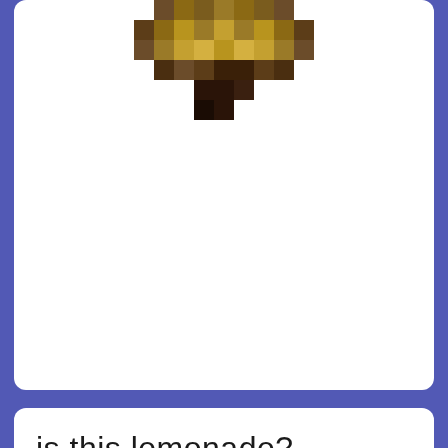[Figure (illustration): Pixel art image of a Minecraft item (resembling a bowl/soup) rendered in brown and tan pixel blocks on a white card background]
is this lemonade?
Minecraft Item for Minecraft Java Edition | by deleted-9kp838dljbqlkrb4bb7r73md
is this lemonade? was remixed from Beetroot Soup.
REMIX ITEM